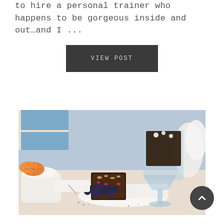to hire a personal trainer who happens to be gorgeous inside and out…and I ...
VIEW POST
[Figure (photo): Food photo showing chocolate brownie squares topped with blueberries, goji berries, and coconut flakes on a white plate, alongside a glass dessert cup with chocolate dessert, orange slices, white bowl, and white flowers in the background.]